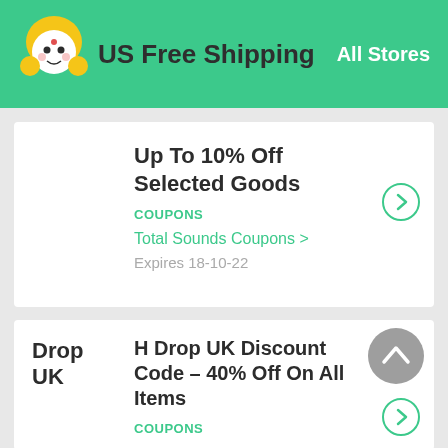US Free Shipping   All Stores
Up To 10% Off Selected Goods
COUPONS
Total Sounds Coupons >
Expires 18-10-22
Drop UK
H Drop UK Discount Code – 40% Off On All Items
COUPONS